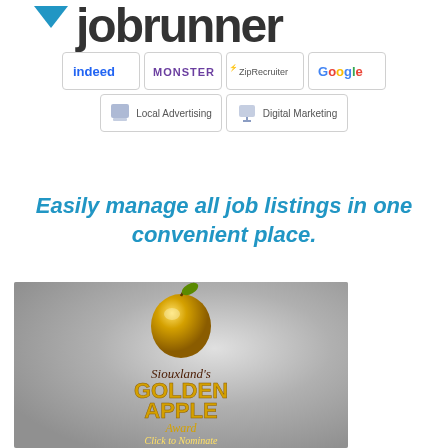[Figure (logo): Jobrunner logo with blue downward triangle and large sans-serif text]
[Figure (illustration): Partner platform logos: Indeed, Monster, ZipRecruiter, Google, Local Advertising, Digital Marketing shown in bordered boxes]
Easily manage all job listings in one convenient place.
[Figure (illustration): Siouxland's Golden Apple Award badge with a golden apple graphic, text reads 'Siouxland's GOLDEN APPLE Award' and 'Click to Nominate' on a silver/grey gradient background]